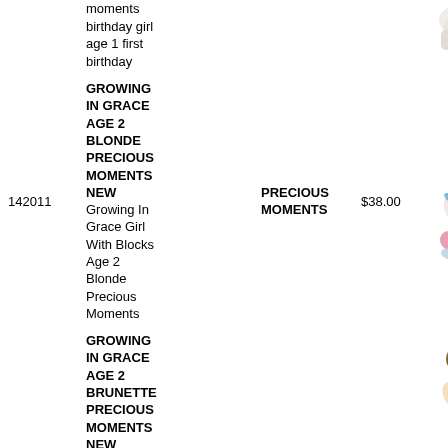moments birthday girl age 1 first birthday
[Figure (photo): Precious Moments figurine - birthday girl age 1, white/pink, partially cropped at top]
| ID | Description | Brand | Price | Image | Qty |
| --- | --- | --- | --- | --- | --- |
| 142011 | GROWING IN GRACE AGE 2 BLONDE PRECIOUS MOMENTS NEW Growing In Grace Girl With Blocks Age 2 Blonde Precious Moments | PRECIOUS MOMENTS | $38.00 | [image] | 5 |
GROWING IN GRACE AGE 2 BRUNETTE PRECIOUS MOMENTS NEW
[Figure (photo): Precious Moments figurine - Growing In Grace Girl With Blocks Age 2 Blonde, pink outfit with bird and blocks]
[Figure (photo): Precious Moments figurine - Growing In Grace Age 2 Brunette, partially cropped at bottom]